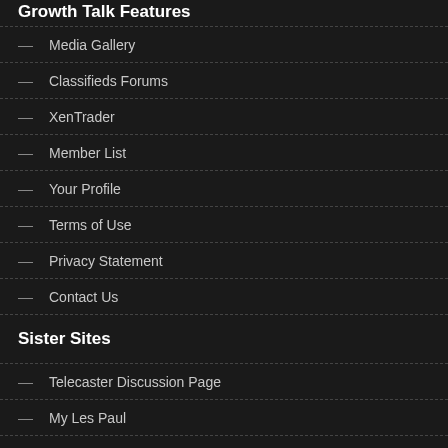Media Gallery
Classifieds Forums
XenTrader
Member List
Your Profile
Terms of Use
Privacy Statement
Contact Us
Sister Sites
Telecaster Discussion Page
My Les Paul
Strat-Talk
Seven String Forum
Squier-Talk Forum